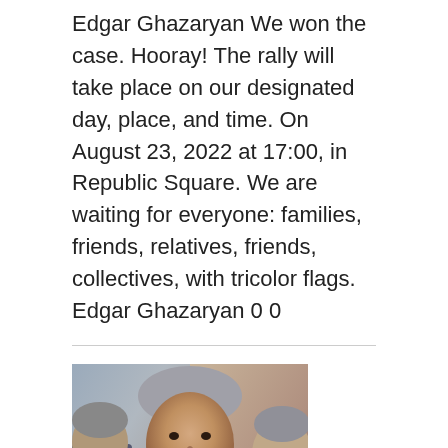Edgar Ghazaryan We won the case. Hooray! The rally will take place on our designated day, place, and time. On August 23, 2022 at 17:00, in Republic Square. We are waiting for everyone: families, friends, relatives, friends, collectives, with tricolor flags. Edgar Ghazaryan 0 0
[Figure (photo): A photo showing a man in a dark suit with a red tie, grey hair, appearing to be speaking or at an event. Another person is partially visible on the left side.]
Edgar Ghazaryan met the second and third presidents of RA, the first president refused to accept him 3